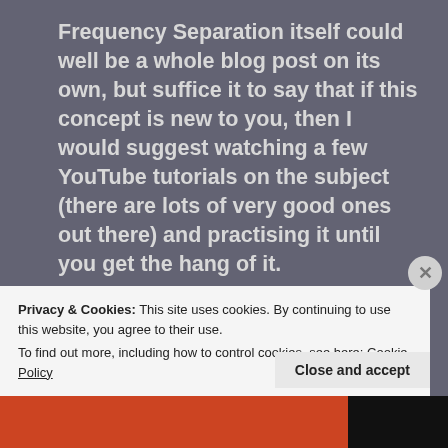Frequency Separation itself could well be a whole blog post on its own, but suffice it to say that if this concept is new to you, then I would suggest watching a few YouTube tutorials on the subject (there are lots of very good ones out there) and practising it until you get the hang of it.
STEP 6 [11:35]
'DODGE AND BURN'
Privacy & Cookies: This site uses cookies. By continuing to use this website, you agree to their use.
To find out more, including how to control cookies, see here: Cookie Policy
Close and accept